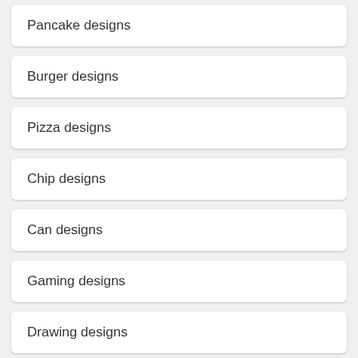Pancake designs
Burger designs
Pizza designs
Chip designs
Can designs
Gaming designs
Drawing designs